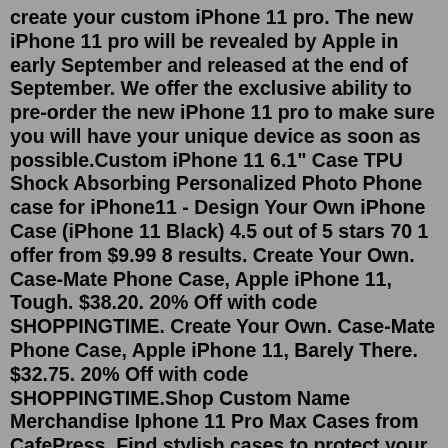create your custom iPhone 11 pro. The new iPhone 11 pro will be revealed by Apple in early September and released at the end of September. We offer the exclusive ability to pre-order the new iPhone 11 pro to make sure you will have your unique device as soon as possible.Custom iPhone 11 6.1" Case TPU Shock Absorbing Personalized Photo Phone case for iPhone11 - Design Your Own iPhone Case (iPhone 11 Black) 4.5 out of 5 stars 70 1 offer from $9.99 8 results. Create Your Own. Case-Mate Phone Case, Apple iPhone 11, Tough. $38.20. 20% Off with code SHOPPINGTIME. Create Your Own. Case-Mate Phone Case, Apple iPhone 11, Barely There. $32.75. 20% Off with code SHOPPINGTIME.Shop Custom Name Merchandise Iphone 11 Pro Max Cases from CafePress. Find stylish cases to protect your devices. Fast Shipping Free Returns (844) 988-0030Case-Mate Phone Case, Apple iPhone 11, Barely There. $45.85. Create Your Own. iPhone 11Slim Fit Case, Glossy. $50.30. 15% Off with code CELEBRATENOW. Create Your Own. Custom Apple iPhone 11 Cl...